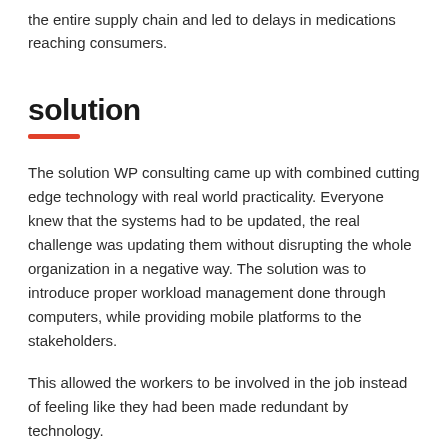the entire supply chain and led to delays in medications reaching consumers.
solution
The solution WP consulting came up with combined cutting edge technology with real world practicality. Everyone knew that the systems had to be updated, the real challenge was updating them without disrupting the whole organization in a negative way. The solution was to introduce proper workload management done through computers, while providing mobile platforms to the stakeholders.
This allowed the workers to be involved in the job instead of feeling like they had been made redundant by technology.